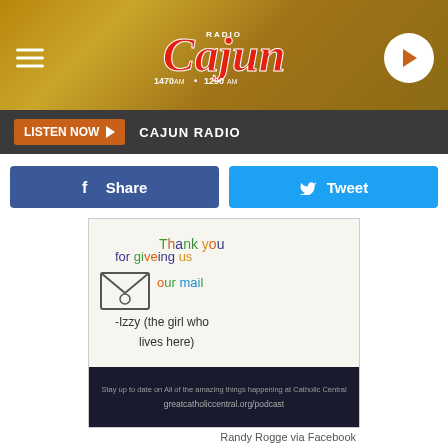Cajun Radio 1470AM 1290AM
LISTEN NOW  CAJUN RADIO
Share  Tweet
[Figure (photo): Handwritten thank you note from Izzy reading: Thank you for giveing us our mail -Izzy (the girl who lives here), with an envelope drawing. A dark background card at the bottom with text: Stay up to date on All of the amazing things happening at Catholic Central / greatcatholiccentral.org/podcast]
Randy Rogge via Facebook
From Izzy (the girl who lives here)
[Figure (photo): Partial view of a second photo, bottom cropped]